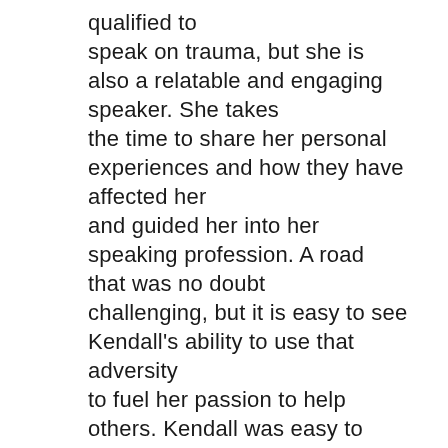qualified to speak on trauma, but she is also a relatable and engaging speaker. She takes the time to share her personal experiences and how they have affected her and guided her into her speaking profession. A road that was no doubt challenging, but it is easy to see Kendall's ability to use that adversity to fuel her passion to help others. Kendall was easy to work with and